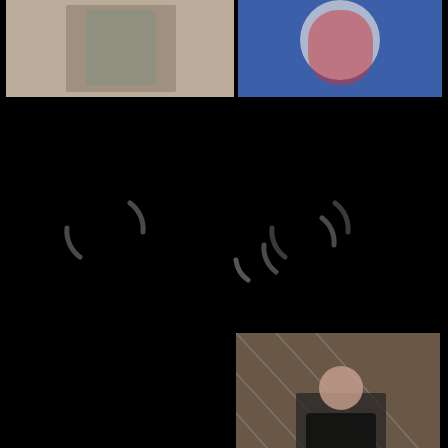[Figure (photo): Photo of a person in dark outfit with accessories, light background]
[Figure (photo): Photo of a person in costume with red and white elements, blue background]
[Figure (photo): Photo of a person in black leather corset in front of metal grid/fence]
[Figure (other): Loading spinner icon, dark background, top-left area]
[Figure (other): Loading spinner icon, dark background, top-right area]
[Figure (other): Loading spinner icon, dark background, middle-left area]
[Figure (other): Loading spinner icon, dark background, bottom-left area]
[Figure (other): Loading spinner icon, dark background, bottom-right area]
[Figure (other): Loading spinner icon, dark background, bottom-center area]